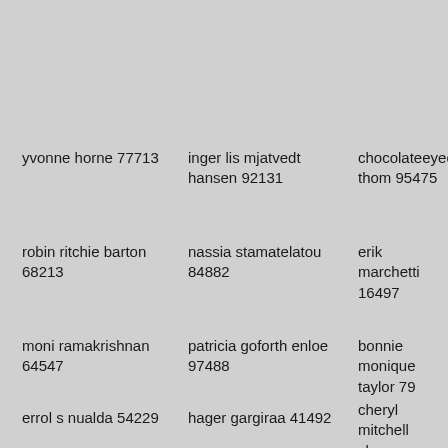yvonne horne 77713
inger lis mjatvedt hansen 92131
chocolateeyecandie thom 95475
robin ritchie barton 68213
nassia stamatelatou 84882
erik marchetti 16497
moni ramakrishnan 64547
patricia goforth enloe 97488
bonnie monique taylor 79
errol s nualda 54229
hager gargiraa 41492
cheryl mitchell shannon 24979